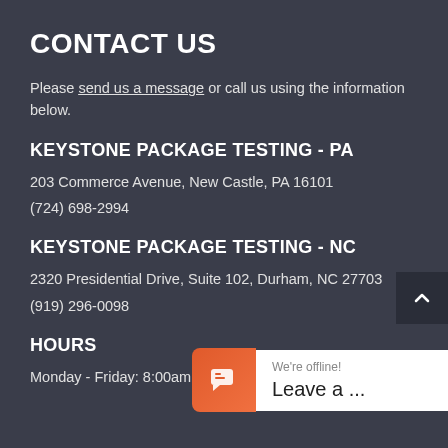CONTACT US
Please send us a message or call us using the information below.
KEYSTONE PACKAGE TESTING - PA
203 Commerce Avenue, New Castle, PA 16101
(724) 698-2994
KEYSTONE PACKAGE TESTING - NC
2320 Presidential Drive, Suite 102, Durham, NC 27703
(919) 296-0098
HOURS
Monday - Friday: 8:00am - 5:00pm